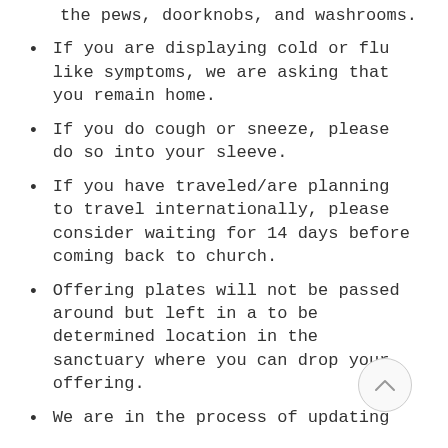the pews, doorknobs, and washrooms.
If you are displaying cold or flu like symptoms, we are asking that you remain home.
If you do cough or sneeze, please do so into your sleeve.
If you have traveled/are planning to travel internationally, please consider waiting for 14 days before coming back to church.
Offering plates will not be passed around but left in a to be determined location in the sanctuary where you can drop your offering.
We are in the process of updating